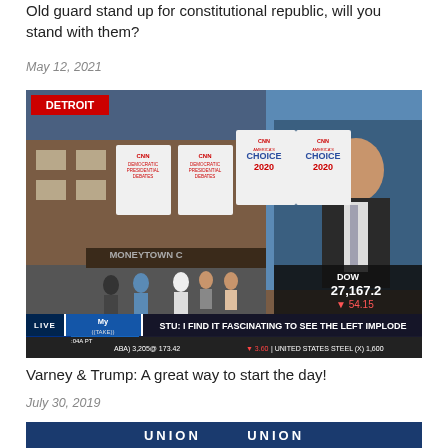Old guard stand up for constitutional republic, will you stand with them?
May 12, 2021
[Figure (screenshot): Fox News screenshot showing a CNN broadcast from Detroit with Democratic Presidential Debates signage and the Fox News ticker at the bottom showing STU: I FIND IT FASCINATING TO SEE THE LEFT IMPLODE, DOW 27,167.2, S&P 3012.47, NAS 8264.02]
Varney & Trump: A great way to start the day!
July 30, 2019
[Figure (screenshot): Bottom banner showing UNION in large letters on a blue background]